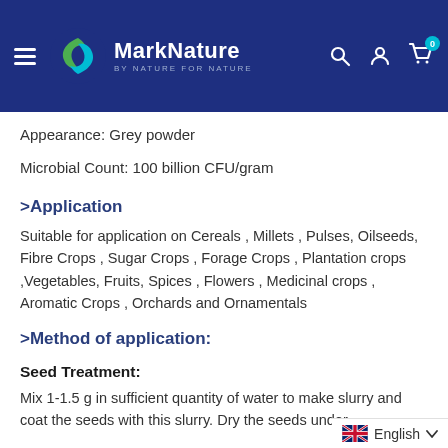MarkNature — By Nature For Nature
Appearance: Grey powder
Microbial Count: 100 billion CFU/gram
>Application
Suitable for application on Cereals , Millets , Pulses, Oilseeds, Fibre Crops , Sugar Crops , Forage Crops , Plantation crops ,Vegetables, Fruits, Spices , Flowers , Medicinal crops , Aromatic Crops , Orchards and Ornamentals
>Method of application:
Seed Treatment:
Mix 1-1.5 g in sufficient quantity of water to make slurry and coat the seeds with this slurry. Dry the seeds under